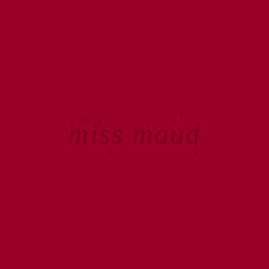[Figure (logo): Miss Maud logo — decorative cursive-style text 'miss maud' in a deep crimson/dark red tone, slightly lighter than the dark crimson background, centered on the page. The lettering features ornate serif flourishes and scroll-like decorative elements.]